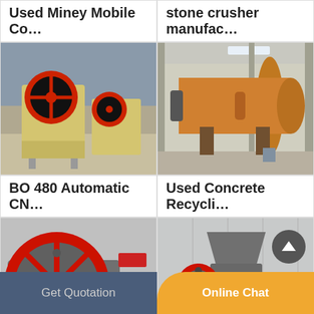[Figure (photo): Industrial machinery - top portion of product listing image (cropped at top)]
[Figure (photo): Stone crusher machinery - top portion of product listing image (cropped at top)]
Used Miney Mobile Co...
stone crusher manufac...
[Figure (photo): BO 480 jaw crusher machines in yellow, industrial factory setting]
[Figure (photo): Large orange rotary drum/kiln machine inside industrial warehouse]
BO 480 Automatic CN...
Used Concrete Recycli...
[Figure (photo): Grey jaw crusher machine with red flywheel, close-up in workshop]
[Figure (photo): Cone crusher machine in industrial yard]
Get Quotation
Online Chat